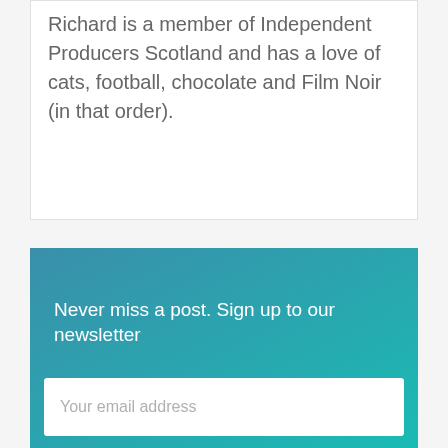Richard is a member of Independent Producers Scotland and has a love of cats, football, chocolate and Film Noir (in that order).
Never miss a post. Sign up to our newsletter
Your email address
I'm not a robot
reCAPTCHA
Privacy · Terms